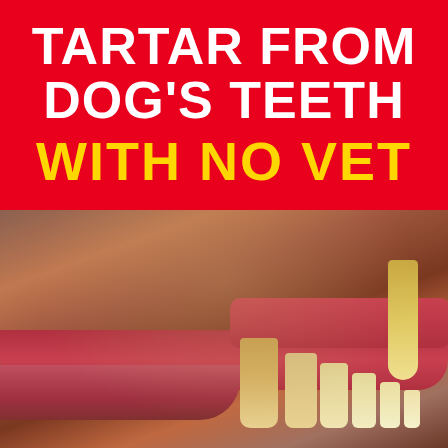TARTAR FROM DOG'S TEETH WITH NO VET
[Figure (photo): Close-up photo of a dog's open mouth showing teeth with tartar buildup, gums, and surrounding fur. The image shows yellowed and brown-stained teeth, pink gums, dark fur around the muzzle area, and a human hand holding the mouth open.]